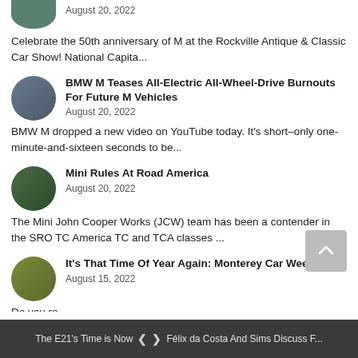[Figure (photo): Circular thumbnail of car at car show, partially visible at top]
August 20, 2022
Celebrate the 50th anniversary of M at the Rockville Antique & Classic Car Show! National Capita...
[Figure (photo): Circular thumbnail of BMW M vehicle doing burnout]
BMW M Teases All-Electric All-Wheel-Drive Burnouts For Future M Vehicles
August 20, 2022
BMW M dropped a new video on YouTube today. It's short–only one-minute-and-sixteen seconds to be...
[Figure (photo): Circular thumbnail of Mini Cooper racing]
Mini Rules At Road America
August 20, 2022
The Mini John Cooper Works (JCW) team has been a contender in the SRO TC America TC and TCA classes ...
[Figure (photo): Circular thumbnail showing cars at Monterey Car Week]
It's That Time Of Year Again: Monterey Car Week
August 15, 2022
Do you re...
The E21's Time is Now  < >  Félix da Costa And Sims Discuss F...